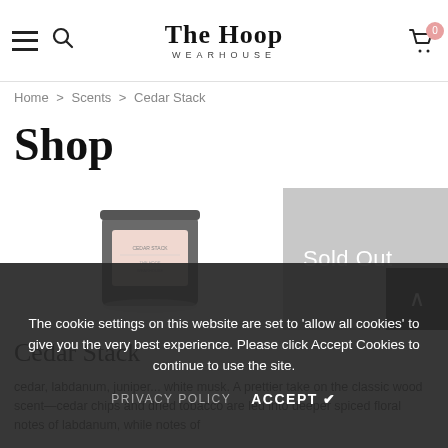The Hoop WEARHOUSE
Home > Scents > Cedar Stack
Shop
[Figure (photo): Small square candle in a grey container with a pink label]
Sold Out
Cedar Stack
The cookie settings on this website are set to 'allow all cookies' to give you the very best experience. Please click Accept Cookies to continue to use the site.
cedar, labdanum, juniper... white musk. A prettier take on the classic wood scent—cedar chips and dried tobacco are led into deeper spiced floral notes of labdanum, while notes of